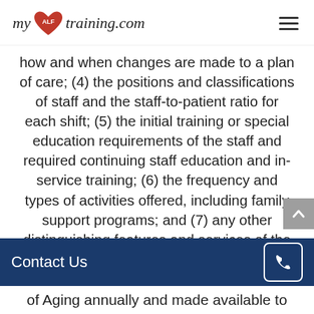myALFtraining.com
how and when changes are made to a plan of care; (4) the positions and classifications of staff and the staff-to-patient ratio for each shift; (5) the initial training or special education requirements of the staff and required continuing staff education and in-service training; (6) the frequency and types of activities offered, including family support programs; and (7) any other distinguishing features and services of the Alzheimer's and
Contact Us
of Aging annually and made available to